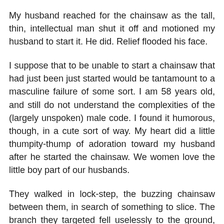My husband reached for the chainsaw as the tall, thin, intellectual man shut it off and motioned my husband to start it. He did. Relief flooded his face.
I suppose that to be unable to start a chainsaw that had just been just started would be tantamount to a masculine failure of some sort. I am 58 years old, and still do not understand the complexities of the (largely unspoken) male code. I found it humorous, though, in a cute sort of way. My heart did a little thumpity-thump of adoration toward my husband after he started the chainsaw. We women love the little boy part of our husbands.
They walked in lock-step, the buzzing chainsaw between them, in search of something to slice. The branch they targeted fell uselessly to the ground, killed by the